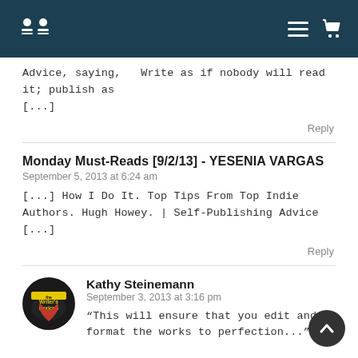Navigation bar with logo, hamburger menu, and cart icon
Advice, saying,   Write as if nobody will read it; publish as [...]
Reply
Monday Must-Reads [9/2/13] - YESENIA VARGAS
September 5, 2013 at 6:24 am
[...] How I Do It. Top Tips From Top Indie Authors. Hugh Howey. | Self-Publishing Advice [...]
Reply
Kathy Steinemann
September 3, 2013 at 3:16 pm
“This will ensure that you edit and format the works to perfection...”